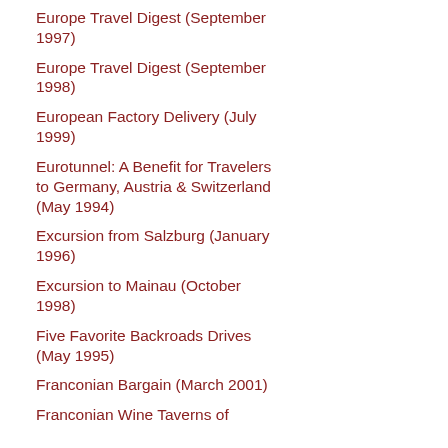Europe Travel Digest (September 1997)
Europe Travel Digest (September 1998)
European Factory Delivery (July 1999)
Eurotunnel: A Benefit for Travelers to Germany, Austria & Switzerland (May 1994)
Excursion from Salzburg (January 1996)
Excursion to Mainau (October 1998)
Five Favorite Backroads Drives (May 1995)
Franconian Bargain (March 2001)
Franconian Wine Taverns of ...